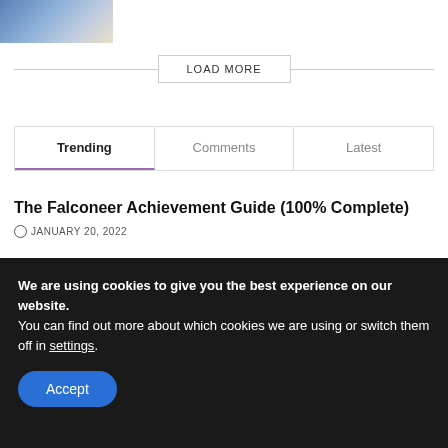[Figure (illustration): Partial anime/illustration thumbnail showing a character in blue outfit]
LOAD MORE
Trending | Comments | Latest
The Falconeer Achievement Guide (100% Complete)
JANUARY 20, 2022
Rust Console Update Today | January 2022 Major Update | New Changes Made |
We are using cookies to give you the best experience on our website.
You can find out more about which cookies we are using or switch them off in settings.
Accept